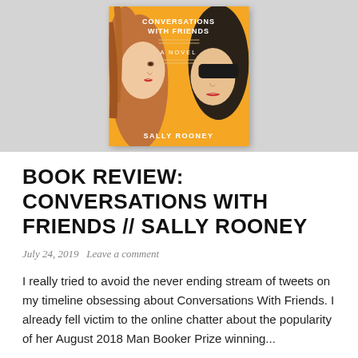[Figure (illustration): Book cover of 'Conversations With Friends: A Novel' by Sally Rooney. Yellow/amber cover showing two illustrated female faces — one with red/auburn hair on the left, one with dark hair and sunglasses on the right. The title and author name are displayed in white bold uppercase lettering. The cover is centered against a light gray banner background.]
BOOK REVIEW: CONVERSATIONS WITH FRIENDS // SALLY ROONEY
July 24, 2019   Leave a comment
I really tried to avoid the never ending stream of tweets on my timeline obsessing about Conversations With Friends. I already fell victim to the online chatter about the popularity of her August 2018 Man Booker Prize winning...